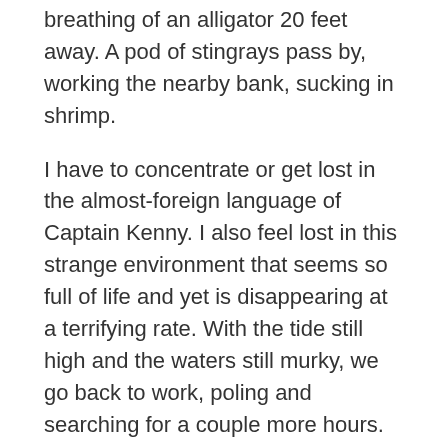breathing of an alligator 20 feet away. A pod of stingrays pass by, working the nearby bank, sucking in shrimp.
I have to concentrate or get lost in the almost-foreign language of Captain Kenny. I also feel lost in this strange environment that seems so full of life and yet is disappearing at a terrifying rate. With the tide still high and the waters still murky, we go back to work, poling and searching for a couple more hours. Then the southern heat defeats us. A lone fish is hardly a triumphant day. “On a good day you can expect more than 20,” the Captain tells me. I don’t really want to hear that, but I don’t have any regrets. In fishing there is deep satisfaction in taking the rare chance when it comes.
Back in the city, there was a whole set of dimensions and...